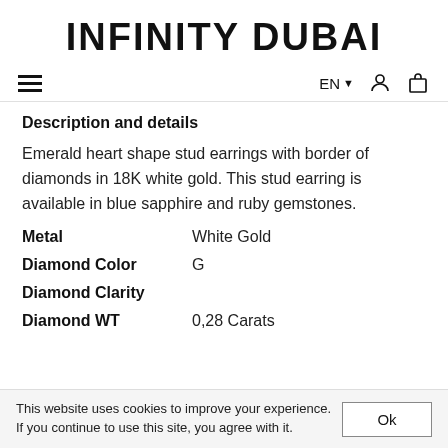INFINITY DUBAI
Description and details
Emerald heart shape stud earrings with border of diamonds in 18K white gold. This stud earring is available in blue sapphire and ruby gemstones.
Metal   White Gold
Diamond Color   G
Diamond Clarity
Diamond WT   0,28 Carats
This website uses cookies to improve your experience. If you continue to use this site, you agree with it.